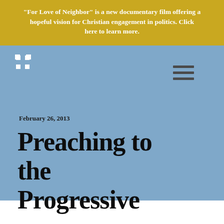"For Love of Neighbor" is a new documentary film offering a hopeful vision for Christian engagement in politics. Click here to learn more.
[Figure (logo): White cross/plus symbol logo made of square bracket shapes on blue background]
February 26, 2013
Preaching to the Progressive